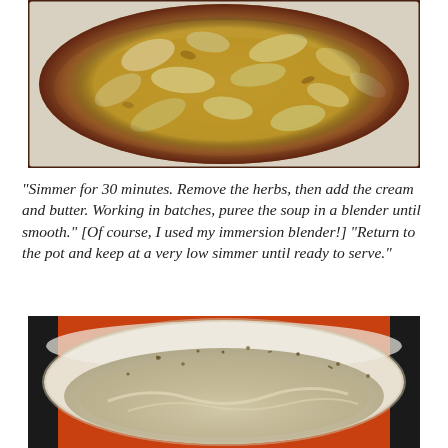[Figure (photo): Top-down view of a pan containing mushrooms and onions sautéing in liquid/broth, with golden-yellow coloring]
“Simmer for 30 minutes. Remove the herbs, then add the cream and butter. Working in batches, puree the soup in a blender until smooth.” [Of course, I used my immersion blender!] “Return to the pot and keep at a very low simmer until ready to serve.”
[Figure (photo): Top-down view of a cream/white Dutch oven or pot containing a blended, smooth pale creamy soup with herb specks around the rim]